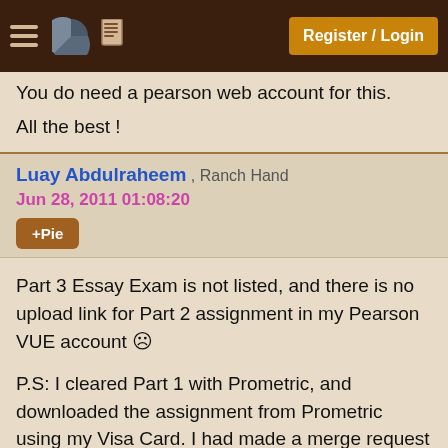Register / Login
You do need a pearson web account for this.
All the best !
Luay Abdulraheem , Ranch Hand
Jun 28, 2011 01:08:20
+Pie
Part 3 Essay Exam is not listed, and there is no upload link for Part 2 assignment in my Pearson VUE account ☹
P.S: I cleared Part 1 with Prometric, and downloaded the assignment from Prometric using my Visa Card. I had made a merge request a month ago and I see the my exam history in Oracle cert-view.
any help ?
Rishi Shehrawat , Ranch Hand